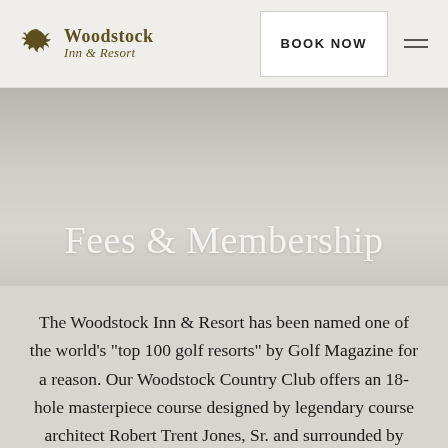Woodstock Inn & Resort | BOOK NOW
Fees & Membership
The Woodstock Inn & Resort has been named one of the world's "top 100 golf resorts" by Golf Magazine for a reason. Our Woodstock Country Club offers an 18-hole masterpiece course designed by legendary course architect Robert Trent Jones, Sr. and surrounded by beautiful panoramic views of the Kedron Valley. The full-service golf club offers a pro shop, practice